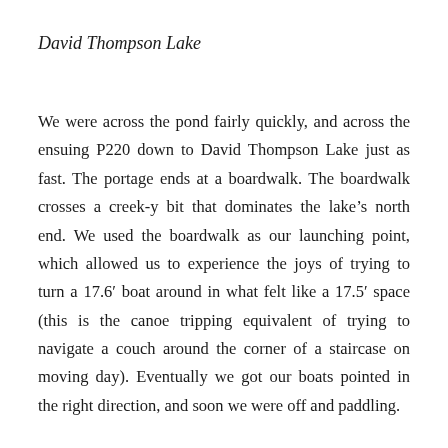David Thompson Lake
We were across the pond fairly quickly, and across the ensuing P220 down to David Thompson Lake just as fast. The portage ends at a boardwalk. The boardwalk crosses a creek-y bit that dominates the lake’s north end. We used the boardwalk as our launching point, which allowed us to experience the joys of trying to turn a 17.6’ boat around in what felt like a 17.5’ space (this is the canoe tripping equivalent of trying to navigate a couch around the corner of a staircase on moving day). Eventually we got our boats pointed in the right direction, and soon we were off and paddling.